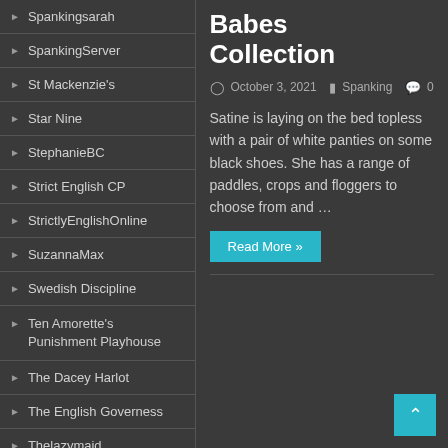SpankingSarah
SpankingServer
St Mackenzie's
Star Nine
StephanieBC
Strict English CP
StrictlyEnglishOnline
SuzannaMax
Swedish Discipline
Ten Amorette's Punishment Playhouse
The Dacey Harlot
The English Governess
Thelazymaid
TripleProductions
Babes Collection
October 3, 2021   Spanking   0
Satine is laying on the bed topless with a pair of white panties on some black shoes. She has a range of paddles, crops and floggers to choose from and …
Read More »